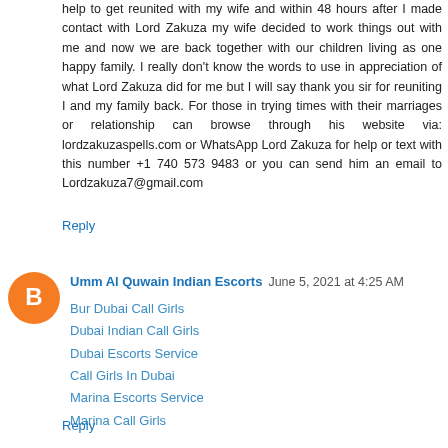help to get reunited with my wife and within 48 hours after I made contact with Lord Zakuza my wife decided to work things out with me and now we are back together with our children living as one happy family. I really don't know the words to use in appreciation of what Lord Zakuza did for me but I will say thank you sir for reuniting I and my family back. For those in trying times with their marriages or relationship can browse through his website via: lordzakuzaspells.com or WhatsApp Lord Zakuza for help or text with this number +1 740 573 9483 or you can send him an email to Lordzakuza7@gmail.com
Reply
Umm Al Quwain Indian Escorts  June 5, 2021 at 4:25 AM
Bur Dubai Call Girls
Dubai Indian Call Girls
Dubai Escorts Service
Call Girls In Dubai
Marina Escorts Service
Marina Call Girls
Reply